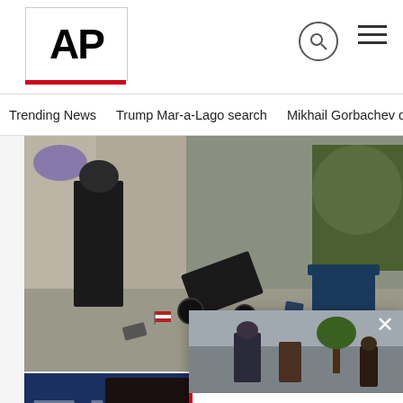[Figure (logo): AP (Associated Press) logo in bold black letters with red underline bar]
Trending News   Trump Mar-a-Lago search   Mikhail Gorbachev d
[Figure (photo): Crime scene photo showing police officer walking past scattered items including overturned stroller, bicycle, folding chairs on a sidewalk after a shooting or mass casualty event]
[Figure (photo): Person with dark hair and bangs in front of blue background with text 'FIN']
[Figure (photo): Breaking news overlay card showing scene of people taking cover with text: Red flag laws get little use as shootings, gun de...]